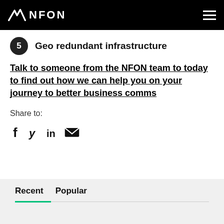NFON
5  Geo redundant infrastructure
Talk to someone from the NFON team to today to find out how we can help you on your journey to better business comms
Share to:
[Figure (infographic): Social media share icons: Facebook, Twitter, LinkedIn, Email]
Recent  Popular